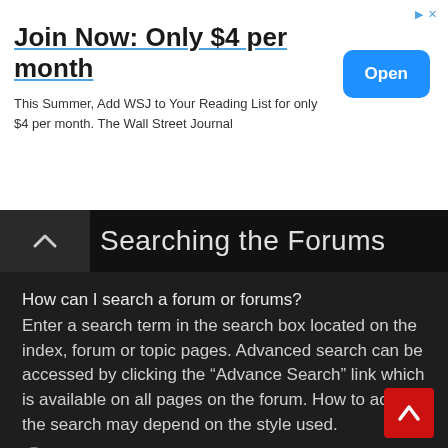[Figure (screenshot): Advertisement banner for WSJ (Wall Street Journal). Title: 'Join Now: Only $4 per month'. Subtitle: 'This Summer, Add WSJ to Your Reading List for only $4 per month. The Wall Street Journal'. Blue 'Open' button on the right.]
Searching the Forums
How can I search a forum or forums?
Enter a search term in the search box located on the index, forum or topic pages. Advanced search can be accessed by clicking the “Advance Search” link which is available on all pages on the forum. How to access the search may depend on the style used.
Top
Why does my search return no results?
Your search was probably too vague and included many common terms which are not indexed by phpBB. Be more specific and use the options available within Advanced search.
Top